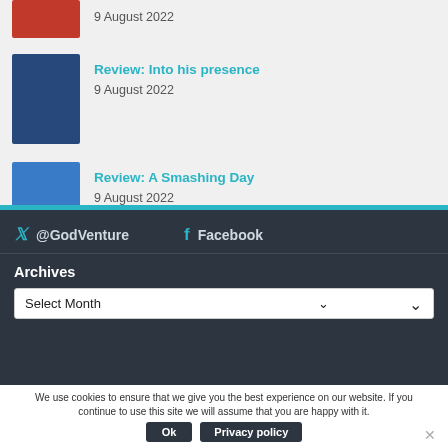9 August 2022
Review: Into his presence
9 August 2022
Review: A Smashing Day
9 August 2022
@GodVenture   Facebook
Archives
Select Month
We use cookies to ensure that we give you the best experience on our website. If you continue to use this site we will assume that you are happy with it.
Ok   Privacy policy